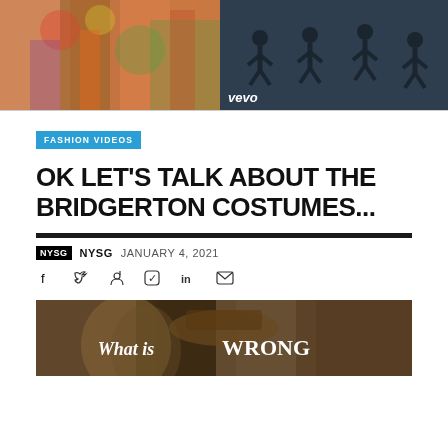[Figure (photo): Fashion runway photo showing models in colorful floral dresses]
[Figure (photo): Dark image with silhouettes of people, vevo watermark in bottom left]
FASHION VIDEOS
OK LET'S TALK ABOUT THE BRIDGERTON COSTUMES...
NYSG  NYSG  JANUARY 4, 2021
[Figure (photo): Partial image with text overlay reading 'What is WRONG']